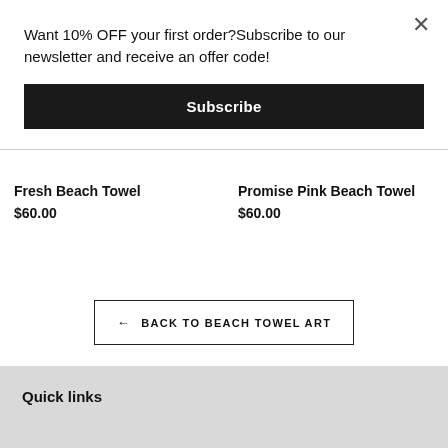Want 10% OFF your first order?Subscribe to our newsletter and receive an offer code!
Subscribe
Fresh Beach Towel
$60.00
Promise Pink Beach Towel
$60.00
← BACK TO BEACH TOWEL ART
Quick links